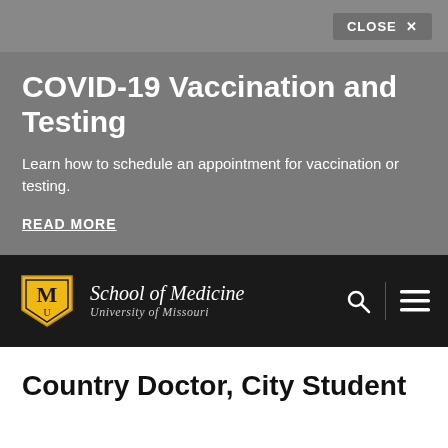CLOSE ×
COVID-19 Vaccination and Testing
Learn how to schedule an appointment for vaccination or testing.
READ MORE
[Figure (logo): University of Missouri (Mizzou) shield logo in gold and black, next to 'School of Medicine' and 'University of Missouri' text in white italic serif font, with search and menu icons on the right, all on a dark/black navigation bar]
Country Doctor, City Student